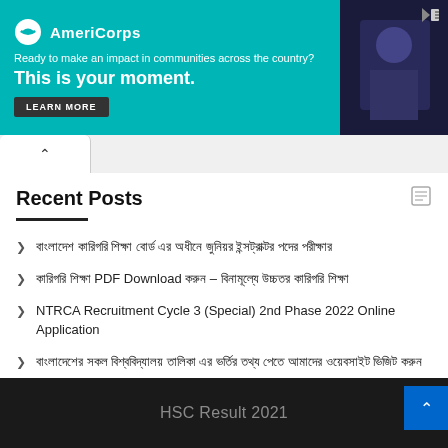[Figure (other): AmeriCorps advertisement banner: 'Ready to make an impact in communities across the country? This is your moment.' with LEARN MORE button and photo of person]
Recent Posts
বাংলাদেশ কারিগরি শিক্ষা বোর্ড এর অধীনে জুনিয়র ইন্সট্রাক্টর পদের পরীক্ষার
কারিগরি শিক্ষা PDF Download করুন – বিনামূল্যে উচ্চতর কারিগরি শিক্ষা
NTRCA Recruitment Cycle 3 (Special) 2nd Phase 2022 Online Application
বাংলাদেশের সকল বিশ্ববিদ্যালয় তালিকা এর ভর্তির তথ্য পেতে আমাদের ওয়েবসাইট ভিজিট করুন
CGDF Job Circular 2021- Apply cgdf.teletalk.co.bd
HSC Result 2021